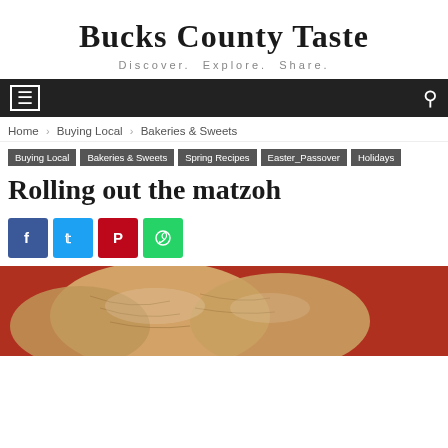Bucks County Taste
Discover. Explore. Share.
≡  🔍
Home › Buying Local › Bakeries & Sweets
Buying Local
Bakeries & Sweets
Spring Recipes
Easter_Passover
Holidays
Rolling out the matzoh
[Figure (infographic): Social share buttons: Facebook (blue), Twitter (light blue), Pinterest (red), WhatsApp (green)]
[Figure (photo): Photo of matzoh bread on a red background, partially visible at bottom of page]